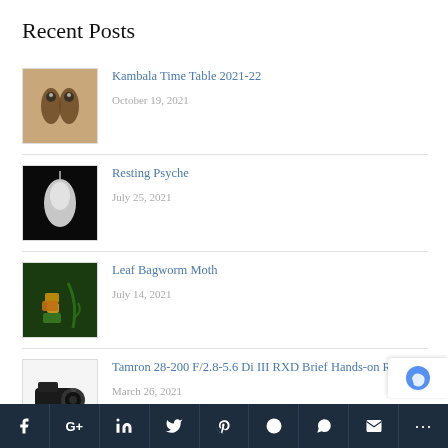Recent Posts
Kambala Time Table 2021-22 | October 19, 2021
Resting Psyche | July 25, 2021
Leaf Bagworm Moth | July 14, 2021
Tamron 28-200 F/2.8-5.6 Di III RXD Brief Hands-on Review | March 26, 2021
Kambala Time Table 2020-21 | January 4, 2021
f G+ in twitter pinterest reddit whatsapp email ...